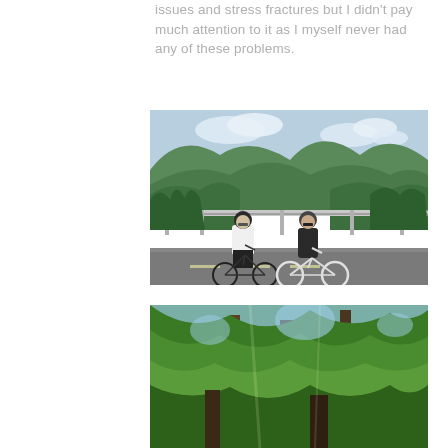issues and stress fractures but I didn't pay much attention to it as I myself never had any of these problems.
[Figure (photo): Two cyclists in helmets and cycling gear standing with their road bikes on a mountain road. Green forested mountains and cloudy sky in the background. A metal guardrail is visible behind them.]
[Figure (photo): A lush green forest scene with tall trees and dense foliage. Sunlight filtering through the canopy.]